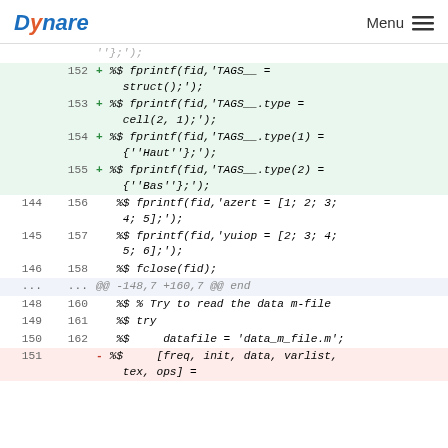Dynare   Menu
| old | new | code |
| --- | --- | --- |
|  |  | ''};'); |
|  | 152 | + %$ fprintf(fid, 'TAGS__ =
    struct();'); |
|  | 153 | + %$ fprintf(fid, 'TAGS__.type =
    cell(2, 1);'); |
|  | 154 | + %$ fprintf(fid, 'TAGS__.type(1) =
    {''Haut''};'); |
|  | 155 | + %$ fprintf(fid, 'TAGS__.type(2) =
    {''Bas''};'); |
| 144 | 156 | %$ fprintf(fid, 'azert = [1; 2; 3;
    4; 5];'); |
| 145 | 157 | %$ fprintf(fid, 'yuiop = [2; 3; 4;
    5; 6];'); |
| 146 | 158 | %$ fclose(fid); |
| ... | ... | @@ -148,7 +160,7 @@ end |
| 148 | 160 | %$ % Try to read the data m-file |
| 149 | 161 | %$ try |
| 150 | 162 | %$     datafile = 'data_m_file.m'; |
| 151 |  | - %$     [freq, init, data, varlist,
    tex, ops] = |